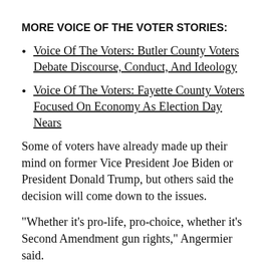MORE VOICE OF THE VOTER STORIES:
Voice Of The Voters: Butler County Voters Debate Discourse, Conduct, And Ideology
Voice Of The Voters: Fayette County Voters Focused On Economy As Election Day Nears
Some of voters have already made up their mind on former Vice President Joe Biden or President Donald Trump, but others said the decision will come down to the issues.
"Whether it's pro-life, pro-choice, whether it's Second Amendment gun rights," Angermier said.
"We had excellent healthcare, so I want everyone to